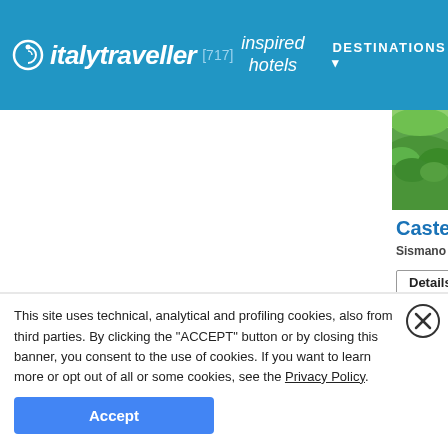italytraveller [717] inspired hotels | DESTINATIONS | EXPER...
[Figure (photo): Green hillside landscape photo, partially visible at top right]
Castello di Sism...
Sismano (Terni) - Hist...
Details
Castello di Sismano... fortress, the surro... rural traditions stil... Umbria's most fas...
[Figure (photo): Blue sky with tree/landscape photo, partially visible at bottom right]
This site uses technical, analytical and profiling cookies, also from third parties. By clicking the "ACCEPT" button or by closing this banner, you consent to the use of cookies. If you want to learn more or opt out of all or some cookies, see the Privacy Policy.
Accept